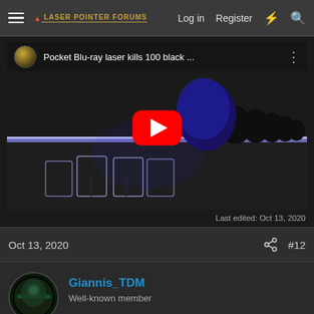LASER POINTER FORUMS   Log in   Register
[Figure (screenshot): YouTube video embed showing 'Pocket Blu-ray laser kills 100 black ...' with play button, showing a laser beam hitting black balloons on cups]
Last edited: Oct 13, 2020
Oct 13, 2020   #12
Giannis_TDM
Well-known member